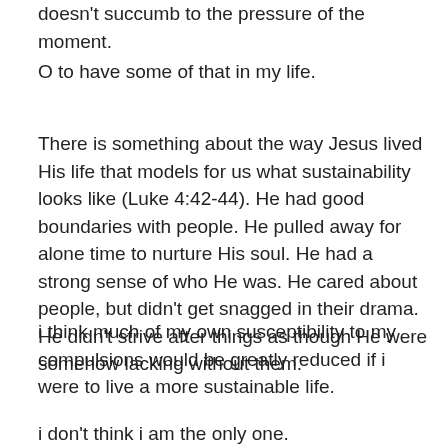doesn't succumb to the pressure of the moment.
O to have some of that in my life.
There is something about the way Jesus lived His life that models for us what sustainability looks like (Luke 4:42-44). He had good boundaries with people. He pulled away for alone time to nurture His soul. He had a strong sense of who He was. He cared about people, but didn't get snagged in their drama. He didn't strive after things as though He were somehow lacking without them.
i think much of my own susceptibility to my compulsions would be greatly reduced if i were to live a more sustainable life.
i don't think i am the only one.